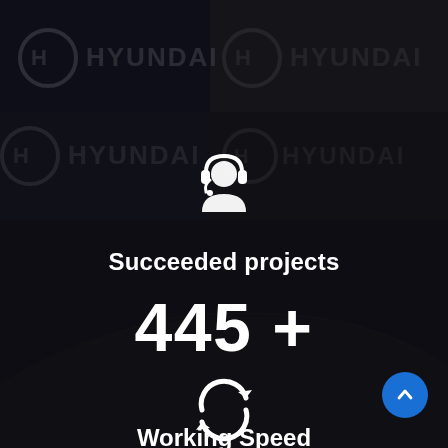[Figure (logo): Hyundai logo banner grid with alternating dark navy and grey panels, repeated across top portion of page]
[Figure (illustration): White headset/customer support agent icon]
Succeeded projects
445 +
[Figure (illustration): White circular refresh/sync icon]
Working Speed